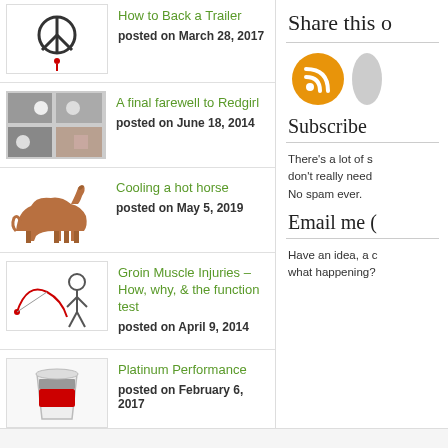How to Back a Trailer — posted on March 28, 2017
A final farewell to Redgirl — posted on June 18, 2014
Cooling a hot horse — posted on May 5, 2019
Groin Muscle Injuries – How, why, & the function test — posted on April 9, 2014
Platinum Performance — posted on February 6, 2017
Trailer tack room organization — posted on April 26, 2017
Share this o
Subscribe
There's a lot of s don't really need No spam ever.
Email me (
Have an idea, a c what happening?